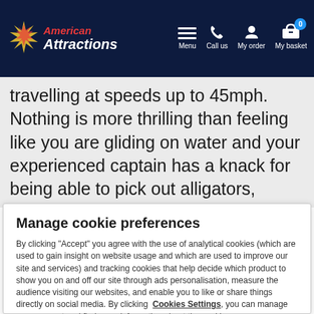American Attractions — Menu, Call us, My order, My basket
travelling at speeds up to 45mph. Nothing is more thrilling than feeling like you are gliding on water and your experienced captain has a knack for being able to pick out alligators,
Manage cookie preferences
By clicking "Accept" you agree with the use of analytical cookies (which are used to gain insight on website usage and which are used to improve our site and services) and tracking cookies that help decide which product to show you on and off our site through ads personalisation, measure the audience visiting our websites, and enable you to like or share things directly on social media. By clicking Cookies Settings, you can manage your consent and find more information about the cookies we use.